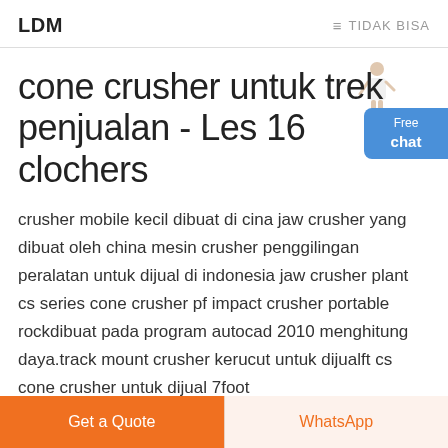LDM   ≡ TIDAK BISA
cone crusher untuk trek penjualan - Les 16 clochers
crusher mobile kecil dibuat di cina jaw crusher yang dibuat oleh china mesin crusher penggilingan peralatan untuk dijual di indonesia jaw crusher plant cs series cone crusher pf impact crusher portable rockdibuat pada program autocad 2010 menghitung daya.track mount crusher kerucut untuk dijualft cs cone crusher untuk dijual 7foot...
Get a Quote
WhatsApp